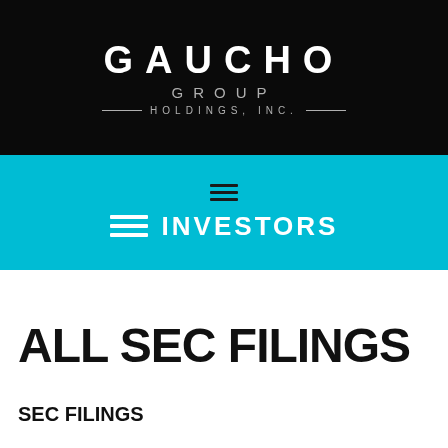[Figure (logo): Gaucho Group Holdings, Inc. logo — white text on black background. Large 'GAUCHO' text, below it 'GROUP', then '— HOLDINGS, INC. —' with decorative lines.]
INVESTORS
ALL SEC FILINGS
SEC FILINGS